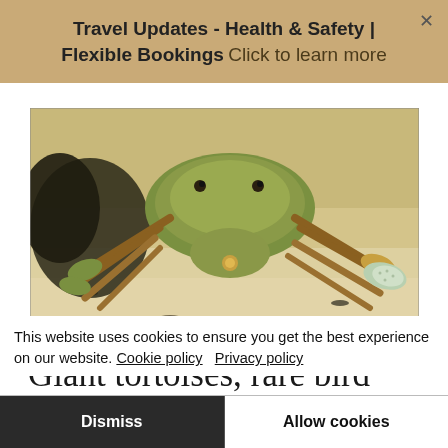Travel Updates - Health & Safety | Flexible Bookings  Click to learn more
[Figure (photo): Close-up photograph of a green/yellow crab on sandy beach with dark organic debris]
Giant tortoises, rare bird life and pristine beaches
This website uses cookies to ensure you get the best experience on our website. Cookie policy  Privacy policy
Dismiss  Allow cookies